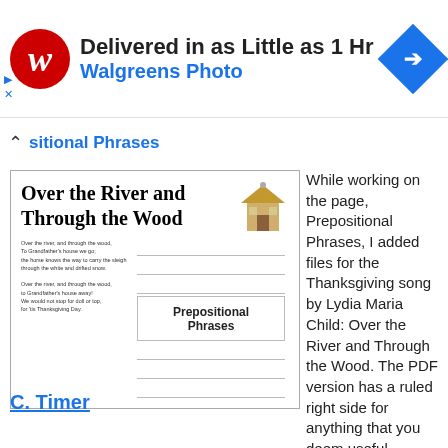[Figure (other): Walgreens Photo advertisement banner: Walgreens logo (red W on red circle), text 'Delivered in as Little as 1 Hr' and 'Walgreens Photo', blue navigation arrow icon on right.]
Prepositional Phrases
[Figure (illustration): Worksheet preview for 'Over the River and Through the Wood' with a house illustration, lyrics text on the left, and ruled lines on the right labeled 'Prepositional Phrases'.]
While working on the page, Prepositional Phrases, I added files for the Thanksgiving song by Lydia Maria Child: Over the River and Through the Wood. The PDF version has a ruled right side for anything that you deem useful.
C. Timer